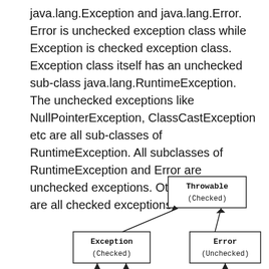java.lang.Exception and java.lang.Error. Error is unchecked exception class while Exception is checked exception class. Exception class itself has an unchecked sub-class java.lang.RuntimeException. The unchecked exceptions like NullPointerException, ClassCastException etc are all sub-classes of RuntimeException. All subclasses of RuntimeException and Error are unchecked exceptions. Other exceptions are all checked exceptions.
[Figure (flowchart): Class hierarchy diagram showing Throwable (Checked) at top, with arrows pointing up from Exception (Checked) on the left and Error (Unchecked) on the right. Both Exception and Error boxes have arrows pointing upward from below.]